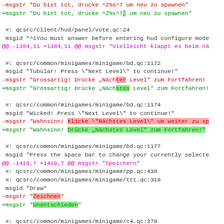Diff/patch code showing gettext translation file changes for a game, with removed and added msgstr lines in German.